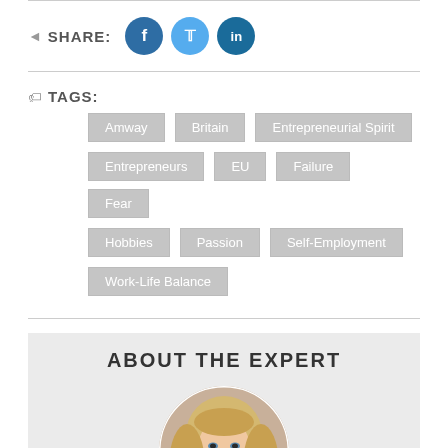SHARE: [Facebook] [Twitter] [LinkedIn]
TAGS: Amway, Britain, Entrepreneurial Spirit, Entrepreneurs, EU, Failure, Fear, Hobbies, Passion, Self-Employment, Work-Life Balance
ABOUT THE EXPERT
[Figure (photo): Circular portrait photo of a blonde woman smiling]